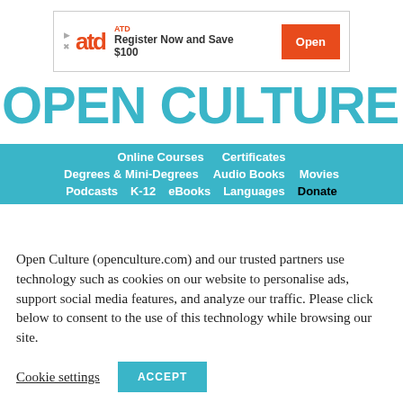[Figure (screenshot): ATD advertisement banner with logo, 'Register Now and Save $100' text, and orange 'Open' button]
OPEN CULTURE
Online Courses   Certificates   Degrees & Mini-Degrees   Audio Books   Movies   Podcasts   K-12   eBooks   Languages   Donate
Open Culture (openculture.com) and our trusted partners use technology such as cookies on our website to personalise ads, support social media features, and analyze our traffic. Please click below to consent to the use of this technology while browsing our site.
Cookie settings   ACCEPT